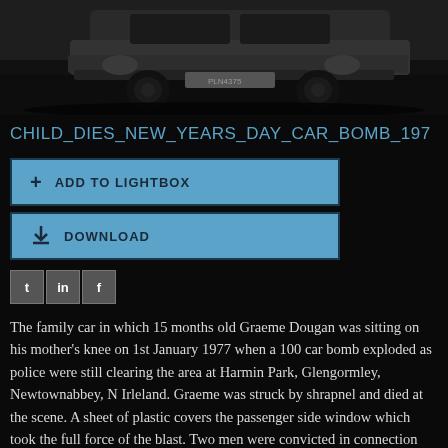[Figure (photo): Black and white photograph of a family car, front view showing bonnet and licence plate area, on a dark street.]
CHILD_DIES_NEW_YEARS_DAY_CAR_BOMB_197
ADD TO LIGHTBOX
DOWNLOAD
[Figure (other): Social media icons: Twitter (t), LinkedIn (in), Facebook (f)]
The family car in which 15 months old Graeme Dougan was sitting on his mother's knee on 1st January 1977 when a 100 car bomb exploded as police were still clearing the area at Harmin Park, Glengormley, Newtownabbey, N Irleland. Graeme was struck by shrapnel and died at the scene. A sheet of plastic covers the passenger side window which took the full force of the blast. Two men were convicted in connection with the incident the following year. They were each sentenced to 18 years, 197701010026b.